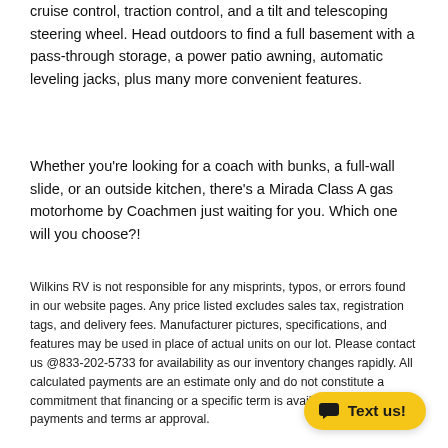cruise control, traction control, and a tilt and telescoping steering wheel. Head outdoors to find a full basement with a pass-through storage, a power patio awning, automatic leveling jacks, plus many more convenient features.
Whether you're looking for a coach with bunks, a full-wall slide, or an outside kitchen, there's a Mirada Class A gas motorhome by Coachmen just waiting for you. Which one will you choose?!
Wilkins RV is not responsible for any misprints, typos, or errors found in our website pages. Any price listed excludes sales tax, registration tags, and delivery fees. Manufacturer pictures, specifications, and features may be used in place of actual units on our lot. Please contact us @833-202-5733 for availability as our inventory changes rapidly. All calculated payments are an estimate only and do not constitute a commitment that financing or a specific term is available. All rates, payments and terms are subject to approval.